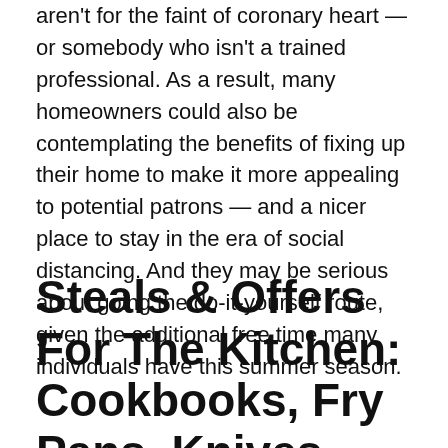aren't for the faint of coronary heart — or somebody who isn't a trained professional. As a result, many homeowners could also be contemplating the benefits of fixing up their home to make it more appealing to potential patrons — and a nicer place to stay in the era of social distancing. And they may be serious about going the do-it-yourself route, given the additional free time many individuals have this summer season.
Steals & Offers For The Kitchen: Cookbooks, Fry Pans, Knives And Extra